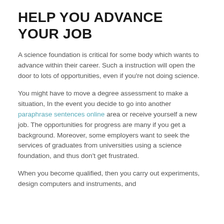HELP YOU ADVANCE YOUR JOB
A science foundation is critical for some body which wants to advance within their career. Such a instruction will open the door to lots of opportunities, even if you're not doing science.
You might have to move a degree assessment to make a situation, In the event you decide to go into another paraphrase sentences online area or receive yourself a new job. The opportunities for progress are many if you get a background. Moreover, some employers want to seek the services of graduates from universities using a science foundation, and thus don't get frustrated.
When you become qualified, then you carry out experiments, design computers and instruments, and